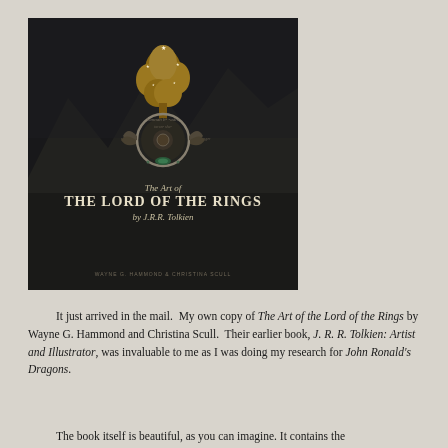[Figure (photo): Book cover of 'The Art of the Lord of the Rings by J.R.R. Tolkien' by Wayne G. Hammond and Christina Scull. Dark background with golden tree of Gondor and ring motif. Text reads: The Art of / THE LORD OF THE RINGS / by J.R.R. Tolkien / WAYNE G. HAMMOND & CHRISTINA SCULL]
It just arrived in the mail. My own copy of The Art of the Lord of the Rings by Wayne G. Hammond and Christina Scull. Their earlier book, J. R. R. Tolkien: Artist and Illustrator, was invaluable to me as I was doing my research for John Ronald's Dragons.
The book itself is beautiful, as you can imagine. It contains the...